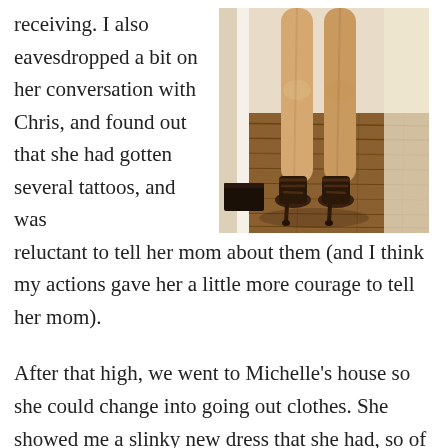receiving. I also eavesdropped a bit on her conversation with Chris, and found out that she had gotten several tattoos, and was reluctant to tell her mom about them (and I think my actions gave her a little more courage to tell her mom).
[Figure (photo): Photo of a person's legs from thigh-down wearing high-heeled strappy sandals, standing on a hardwood floor hallway.]
After that high, we went to Michelle's house so she could change into going out clothes. She showed me a slinky new dress that she had, so of course I had to try it on too, along with some heels I had found